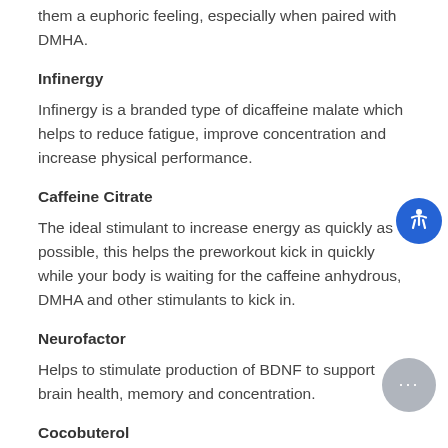them a euphoric feeling, especially when paired with DMHA.
Infinergy
Infinergy is a branded type of dicaffeine malate which helps to reduce fatigue, improve concentration and increase physical performance.
Caffeine Citrate
The ideal stimulant to increase energy as quickly as possible, this helps the preworkout kick in quickly while your body is waiting for the caffeine anhydrous, DMHA and other stimulants to kick in.
Neurofactor
Helps to stimulate production of BDNF to support brain health, memory and concentration.
Cocobuterol